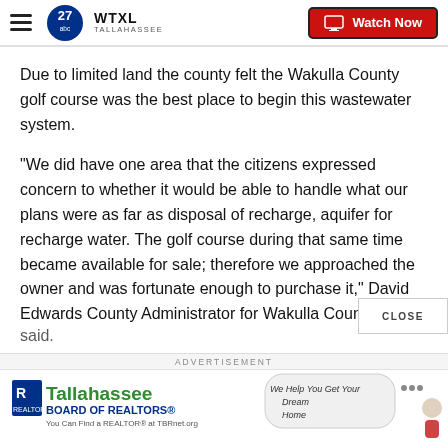WTXL TALLAHASSEE — Watch Now
Due to limited land the county felt the Wakulla County golf course was the best place to begin this wastewater system.
"We did have one area that the citizens expressed concern to whether it would be able to handle what our plans were as far as disposal of recharge, aquifer for recharge water. The golf course during that same time became available for sale; therefore we approached the owner and was fortunate enough to purchase it," David Edwards County Administrator for Wakulla Count said.
[Figure (infographic): Tallahassee Board of Realtors advertisement banner with text 'We Help You Get Your Dream Home' and 'You Can Find a REALTOR at TBRnet.org']